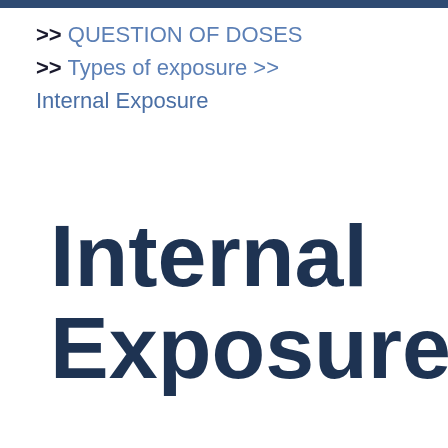>> QUESTION OF DOSES >> Types of exposure >> Internal Exposure
Internal Exposure